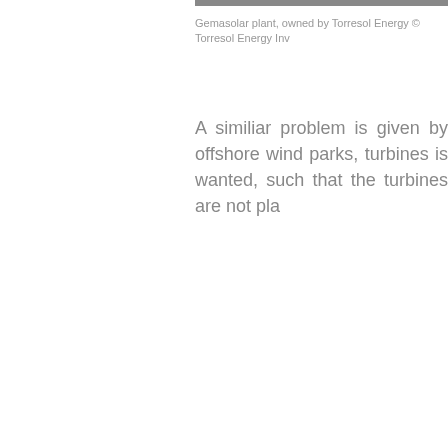[Figure (photo): Partial view of Gemasolar solar thermal plant, cropped at top of page]
Gemasolar plant, owned by Torresol Energy © Torresol Energy Inv
A similiar problem is given by offshore wind parks, turbines is wanted, such that the turbines are not pla